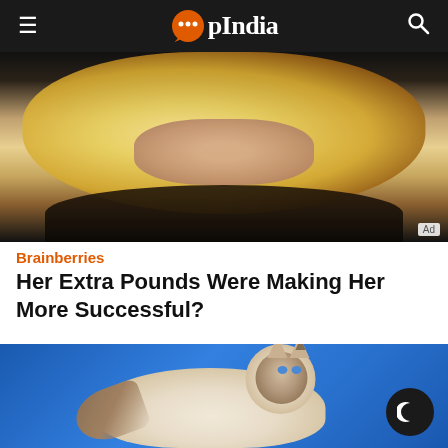opIndia
[Figure (photo): Close-up of a blonde woman with long wavy hair wearing a dark fur-trimmed garment, with an 'Ad' label in the bottom right corner]
Brainberries
Her Extra Pounds Were Making Her More Successful?
[Figure (photo): A fluffy Siberian or Neva Masquerade cat with white and brown coloring posed against a bright blue background, with a dark mode moon button overlay in the bottom right]